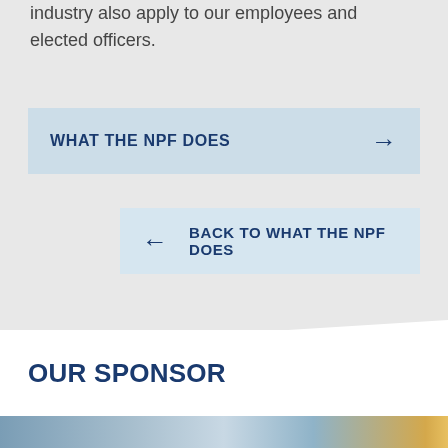industry also apply to our employees and elected officers.
WHAT THE NPF DOES
BACK TO WHAT THE NPF DOES
OUR SPONSOR
[Figure (photo): Photo strip showing people, partially visible at bottom of page]